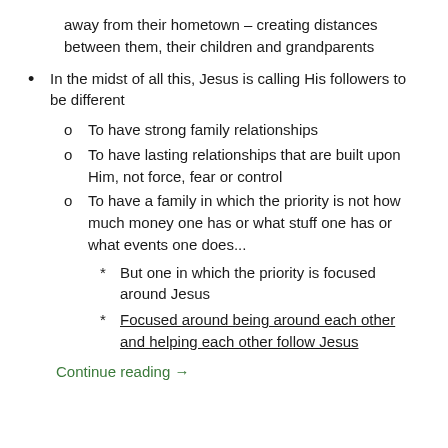away from their hometown – creating distances between them, their children and grandparents
In the midst of all this, Jesus is calling His followers to be different
To have strong family relationships
To have lasting relationships that are built upon Him, not force, fear or control
To have a family in which the priority is not how much money one has or what stuff one has or what events one does...
But one in which the priority is focused around Jesus
Focused around being around each other and helping each other follow Jesus
Continue reading →